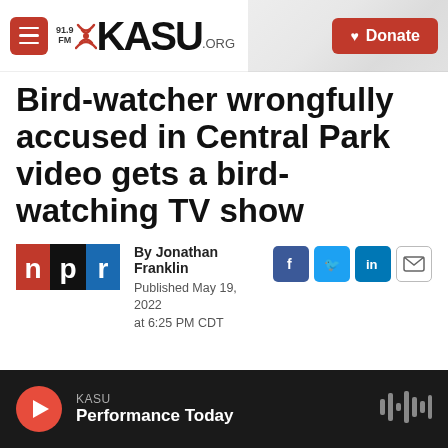91.9FM KASU.ORG — Donate
Bird-watcher wrongfully accused in Central Park video gets a bird-watching TV show
By Jonathan Franklin
Published May 19, 2022 at 6:25 PM CDT
KASU Performance Today